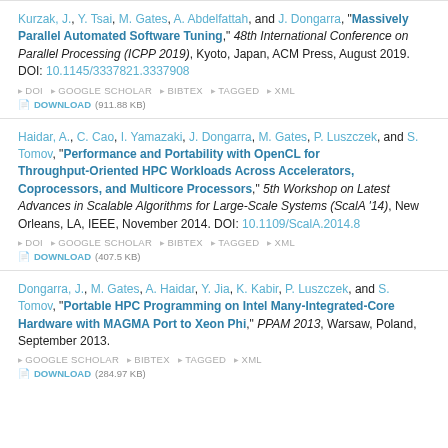Kurzak, J., Y. Tsai, M. Gates, A. Abdelfattah, and J. Dongarra, "Massively Parallel Automated Software Tuning," 48th International Conference on Parallel Processing (ICPP 2019), Kyoto, Japan, ACM Press, August 2019. DOI: 10.1145/3337821.3337908
Haidar, A., C. Cao, I. Yamazaki, J. Dongarra, M. Gates, P. Luszczek, and S. Tomov, "Performance and Portability with OpenCL for Throughput-Oriented HPC Workloads Across Accelerators, Coprocessors, and Multicore Processors," 5th Workshop on Latest Advances in Scalable Algorithms for Large-Scale Systems (ScalA '14), New Orleans, LA, IEEE, November 2014. DOI: 10.1109/ScalA.2014.8
Dongarra, J., M. Gates, A. Haidar, Y. Jia, K. Kabir, P. Luszczek, and S. Tomov, "Portable HPC Programming on Intel Many-Integrated-Core Hardware with MAGMA Port to Xeon Phi," PPAM 2013, Warsaw, Poland, September 2013.